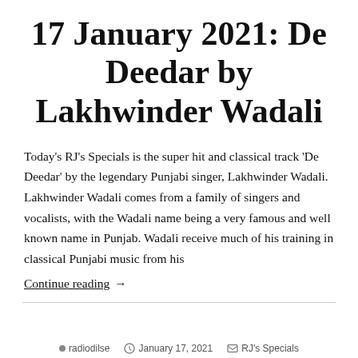17 January 2021: De Deedar by Lakhwinder Wadali
Today's RJ's Specials is the super hit and classical track 'De Deedar' by the legendary Punjabi singer, Lakhwinder Wadali. Lakhwinder Wadali comes from a family of singers and vocalists, with the Wadali name being a very famous and well known name in Punjab. Wadali receive much of his training in classical Punjabi music from his
Continue reading  →
radiodilse   January 17, 2021   RJ's Specials